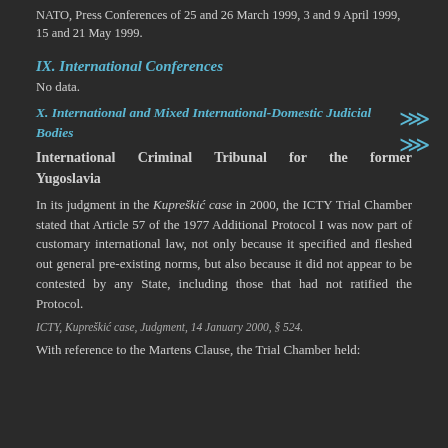NATO, Press Conferences of 25 and 26 March 1999, 3 and 9 April 1999, 15 and 21 May 1999.
IX. International Conferences
No data.
X. International and Mixed International-Domestic Judicial Bodies
International Criminal Tribunal for the former Yugoslavia
In its judgment in the Kupreškić case in 2000, the ICTY Trial Chamber stated that Article 57 of the 1977 Additional Protocol I was now part of customary international law, not only because it specified and fleshed out general pre-existing norms, but also because it did not appear to be contested by any State, including those that had not ratified the Protocol.
ICTY, Kupreškić case, Judgment, 14 January 2000, § 524.
With reference to the Martens Clause, the Trial Chamber held: